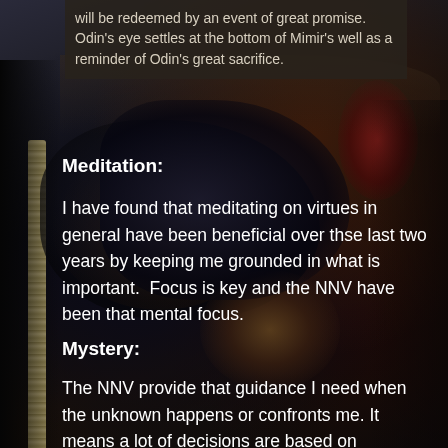will be redeemed by an event of great promise. Odin's eye settles at the bottom of Mimir's well as a reminder of Odin's great sacrifice.
[Figure (illustration): Dark fantasy artwork depicting Odin or a Norse figure in a dark cloak, with ravens, a staff/rope element on the left, and red accents top right. Dark moody palette of black, deep blue, brown, and red.]
Meditation:
I have found that meditating on virtues in general have been beneficial over thse last two years by keeping me grounded in what is important.  Focus is key and the NNV have been that mental focus.
Mystery:
The NNV provide that guidance I need when the unknown happens or confronts me. It means a lot of decisions are based on character rather thna the feelings of the moment.